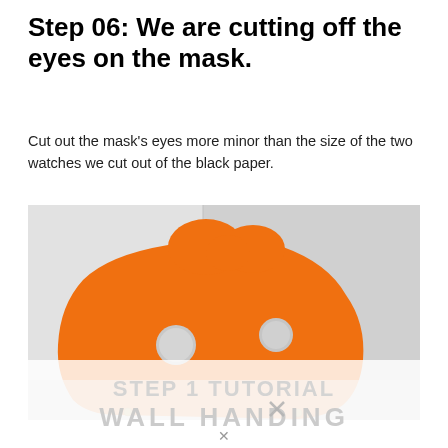Step 06: We are cutting off the eyes on the mask.
Cut out the mask's eyes more minor than the size of the two watches we cut out of the black paper.
[Figure (photo): Photo of an orange semi-circular mask shape pinned to a light gray surface, with two small circular eye holes cut out of it.]